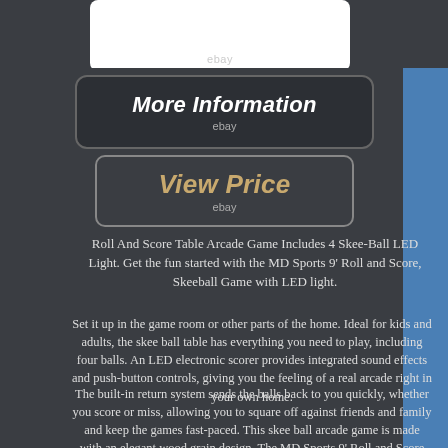[Figure (photo): Partial product image at top, white card with ebay watermark visible]
[Figure (other): More Information button with ebay label, dark background with rounded border]
[Figure (other): View Price button with ebay label, dark background with rounded border]
Roll And Score Table Arcade Game Includes 4 Skee-Ball LED Light. Get the fun started with the MD Sports 9' Roll and Score, Skeeball Game with LED light.
Set it up in the game room or other parts of the home. Ideal for kids and adults, the skee ball table has everything you need to play, including four balls. An LED electronic scorer provides integrated sound effects and push-button controls, giving you the feeling of a real arcade right in your own home.
The built-in return system sends the balls back to you quickly, whether you score or miss, allowing you to square off against friends and family and keep the games fast-paced. This skee ball arcade game is made with an elegant wood grain design. The MD Sports 9' Roll and Score Game is a great game for parties and family gatherings. Ideal for all the family members.